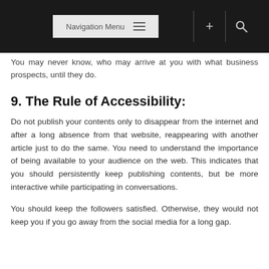Navigation Menu
You may never know, who may arrive at you with what business prospects, until they do.
9. The Rule of Accessibility:
Do not publish your contents only to disappear from the internet and after a long absence from that website, reappearing with another article just to do the same. You need to understand the importance of being available to your audience on the web. This indicates that you should persistently keep publishing contents, but be more interactive while participating in conversations.
You should keep the followers satisfied. Otherwise, they would not keep you if you go away from the social media for a long gap.